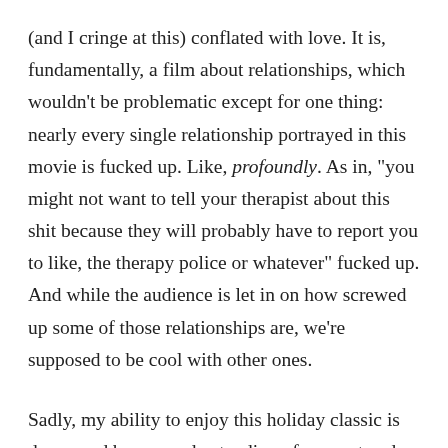(and I cringe at this) conflated with love. It is, fundamentally, a film about relationships, which wouldn't be problematic except for one thing: nearly every single relationship portrayed in this movie is fucked up. Like, profoundly. As in, "you might not want to tell your therapist about this shit because they will probably have to report you to like, the therapy police or whatever" fucked up. And while the audience is let in on how screwed up some of those relationships are, we're supposed to be cool with other ones.
Sadly, my ability to enjoy this holiday classic is dampened by my understanding of consent and